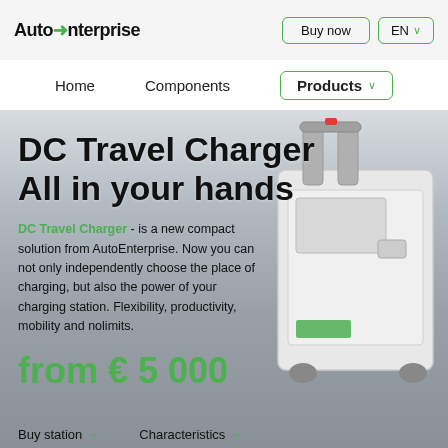Auto→nterprise  Buy now  EN ∨
Home   Components   Products ∨
[Figure (photo): DC Travel Charger device on wheels in front of a car, set against a blurred outdoor background.]
DC Travel Charger All in your hands
DC Travel Charger - is a new compact solution from AutoEnterprise. Now you can not only independently choose the place of charging, but also the power of your charging station. Flexibility, productivity, mobility and nolimits.
from € 5 000
Buy station →   Characteristics →